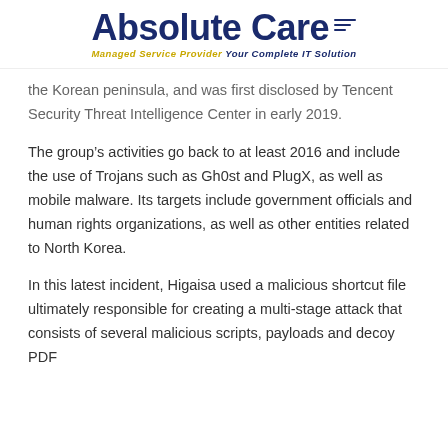Absolute Care — Managed Service Provider Your Complete IT Solution
the Korean peninsula, and was first disclosed by Tencent Security Threat Intelligence Center in early 2019.
The group's activities go back to at least 2016 and include the use of Trojans such as Gh0st and PlugX, as well as mobile malware. Its targets include government officials and human rights organizations, as well as other entities related to North Korea.
In this latest incident, Higaisa used a malicious shortcut file ultimately responsible for creating a multi-stage attack that consists of several malicious scripts, payloads and decoy PDF